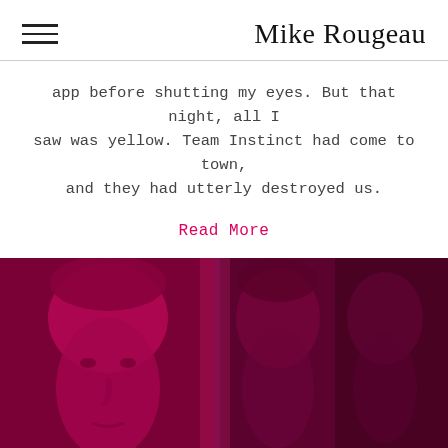Mike Rougeau
app before shutting my eyes. But that night, all I saw was yellow. Team Instinct had come to town, and they had utterly destroyed us.
Read More
[Figure (photo): A man's face with a pink/magenta color overlay, photo appears in triplicate with varying opacity]